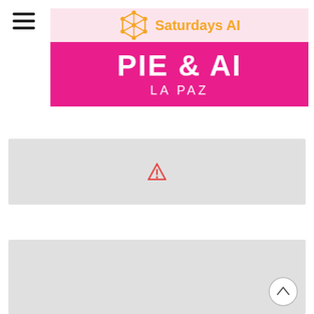[Figure (logo): Hamburger menu icon (three horizontal lines) in top left corner]
[Figure (illustration): Saturdays AI logo and PIE & AI LA PAZ banner. Top section has light pink background with orange network/polygon logo and 'Saturdays AI' text in orange. Bottom section is hot pink with large white bold text 'PIE & AI' and below it 'LA PAZ' in white.]
[Figure (map): Gray placeholder map area with a small red warning/triangle icon in the center]
[Figure (map): Gray placeholder map area with a circular scroll-to-top button (arrow up in circle) in the bottom right corner]